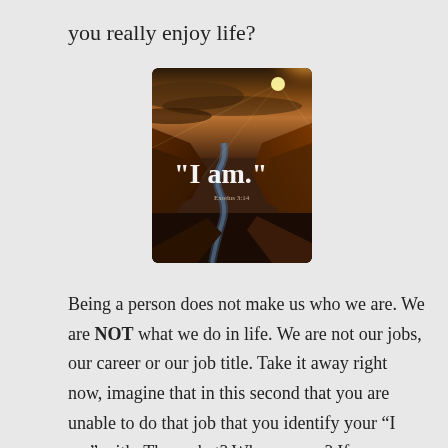you really enjoy life?
[Figure (photo): Dramatic canyon landscape with a river winding below, sunburst breaking through clouds at top right, with white serif text reading "I am." and small text below reading "Exodus 3:14"]
Being a person does not make us who we are. We are NOT what we do in life. We are not our jobs, our career or our job title. Take it away right now, imagine that in this second that you are unable to do that job that you identify your “I am” with. Then what? Who are you? If